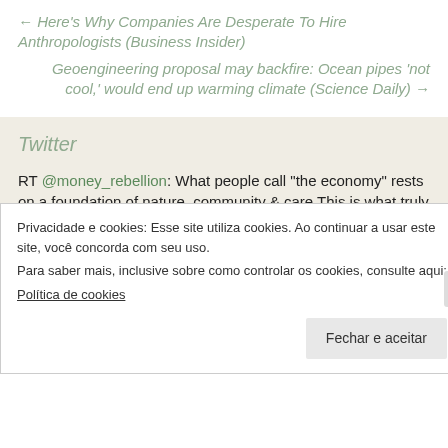← Here's Why Companies Are Desperate To Hire Anthropologists (Business Insider)
Geoengineering proposal may backfire: Ocean pipes 'not cool,' would end up warming climate (Science Daily) →
Twitter
RT @money_rebellion: What people call "the economy" rests on a foundation of nature, community & care This is what truly matters for human... 4 days ago
Privacidade e cookies: Esse site utiliza cookies. Ao continuar a usar este site, você concorda com seu uso. Para saber mais, inclusive sobre como controlar os cookies, consulte aqui: Política de cookies
Fechar e aceitar